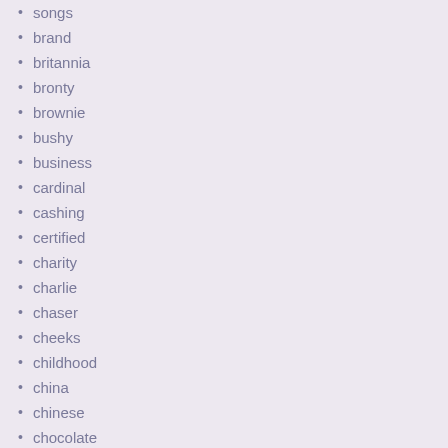songs
brand
britannia
bronty
brownie
bushy
business
cardinal
cashing
certified
charity
charlie
chaser
cheeks
childhood
china
chinese
chocolate
claire
classic
claude
clau...